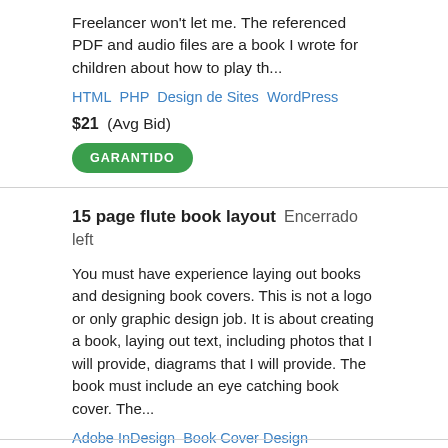Freelancer won't let me. The referenced PDF and audio files are a book I wrote for children about how to play th...
HTML   PHP   Design de Sites   WordPress
$21  (Avg Bid)
GARANTIDO
15 page flute book layout  Encerrado left
You must have experience laying out books and designing book covers. This is not a logo or only graphic design job. It is about creating a book, laying out text, including photos that I will provide, diagrams that I will provide. The book must include an eye catching book cover. The...
Adobe InDesign   Book Cover Design   eBook Design   eBooks   Design Gráfico
$58  (Avg Bid)